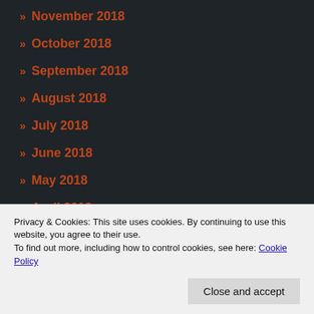» November 2018
» October 2018
» September 2018
» August 2018
» July 2018
» June 2018
» May 2018
» April 2018
» March 2018
» February 2018
Privacy & Cookies: This site uses cookies. By continuing to use this website, you agree to their use.
To find out more, including how to control cookies, see here: Cookie Policy
Close and accept